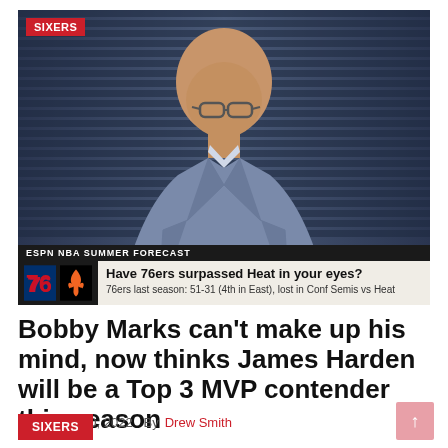[Figure (screenshot): ESPN NBA Summer Forecast TV segment screenshot showing a bald man in a grey suit jacket. Lower-third overlay reads 'ESPN NBA SUMMER FORECAST' with 76ers and Heat logos and text: 'Have 76ers surpassed Heat in your eyes? 76ers last season: 51-31 (4th in East), lost in Conf Semis vs Heat'. A red SIXERS badge appears in the top-left corner of the image.]
Bobby Marks can't make up his mind, now thinks James Harden will be a Top 3 MVP contender this season
August 10, 2022  By Drew Smith
SIXERS